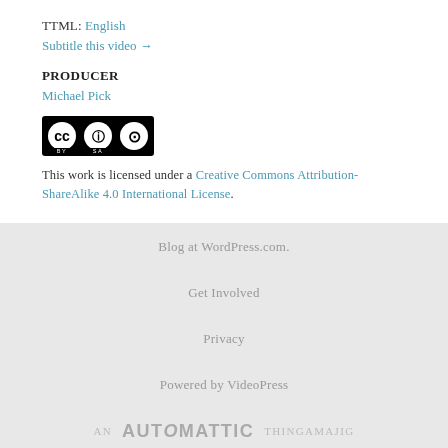TTML: English
Subtitle this video →
PRODUCER
Michael Pick
[Figure (logo): Creative Commons BY-SA license badge]
This work is licensed under a Creative Commons Attribution-ShareAlike 4.0 International License.
Blog at WordPress.com.
Get Involved
Privacy
Powered by VideoPress
AN AUTOMATTIC THINGAMAJIG